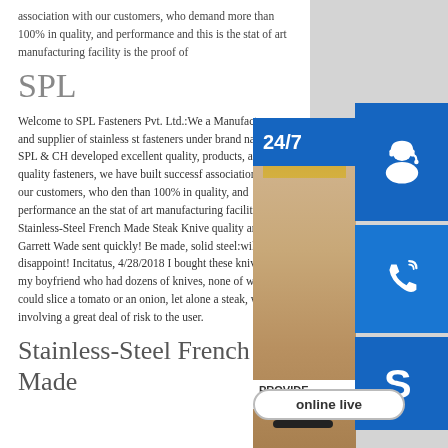association with our customers, who demand more than 100% in quality, and performance and this is the stat of art manufacturing facility is the proof of
SPL
Welcome to SPL Fasteners Pvt. Ltd.:We a Manufacturer and supplier of stainless st fasteners under brand name of SPL & CH developed excellent quality, products, an quality fasteners, we have built successf association with our customers, who den than 100% in quality, and performance an the stat of art manufacturing facility is th Stainless-Steel French Made Steak Knive quality and Garrett Wade sent quickly! Be made, solid steel:will not disappoint! Incitatus, 4/28/2018 I bought these knives for my boyfriend who had dozens of knives, none of which could slice a tomato or an onion, let alone a steak, without involving a great deal of risk to the user.
Stainless-Steel French Made
[Figure (infographic): Customer support overlay panel with 24/7 blue bar, headset icon box, phone icon box, Skype icon box, photo of woman with headset, PROVIDE Empowering Customers text, and online live button]